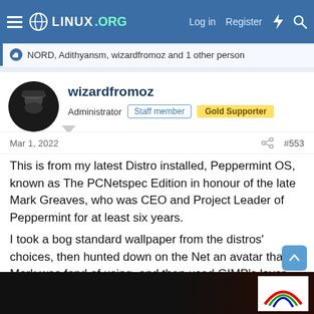LINUX.ORG — Log in Register
NORD, Adithyansm, wizardfromoz and 1 other person
wizardfromoz
Administrator  Staff member  Gold Supporter
Mar 1, 2022  #553
This is from my latest Distro installed, Peppermint OS, known as The PCNetspec Edition in honour of the late Mark Greaves, who was CEO and Project Leader of Peppermint for at least six years.
I took a bog standard wallpaper from the distros' choices, then hunted down on the Net an avatar that Mark was fond of using, and then used GIMP's layer tool to add to the page.
[Figure (photo): Partial screenshot of a dark image preview at the bottom of the post, with a small white thumbnail visible at the lower right.]